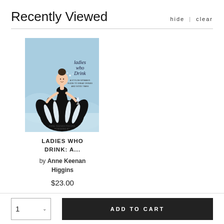Recently Viewed
hide | clear
[Figure (illustration): Book cover of 'Ladies Who Drink' by Anne Keenan Higgins — illustrated woman in black and white dress on blue background holding a cocktail glass]
LADIES WHO DRINK: A...
by Anne Keenan Higgins
$23.00
ADD TO CART
1
ADD TO CART